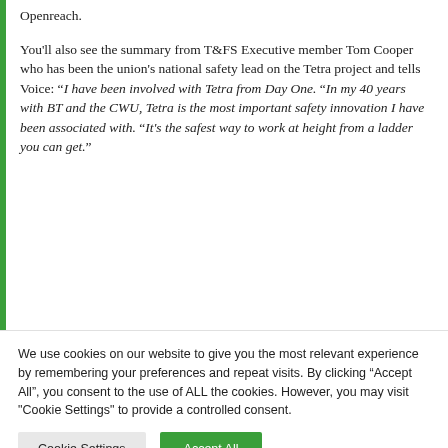Openreach.
You'll also see the summary from T&FS Executive member Tom Cooper who has been the union's national safety lead on the Tetra project and tells Voice: “I have been involved with Tetra from Day One. “In my 40 years with BT and the CWU, Tetra is the most important safety innovation I have been associated with. “It’s the safest way to work at height from a ladder you can get.”
We use cookies on our website to give you the most relevant experience by remembering your preferences and repeat visits. By clicking “Accept All”, you consent to the use of ALL the cookies. However, you may visit "Cookie Settings" to provide a controlled consent.